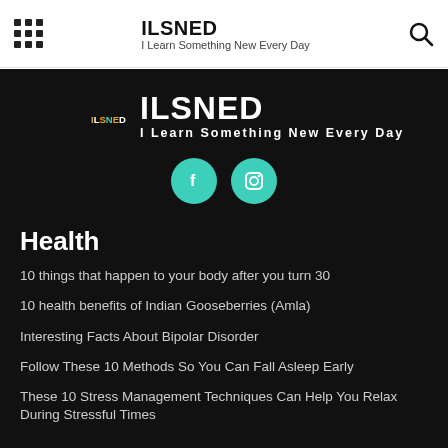ILSNED I Learn Something New Every Day
[Figure (logo): ILSNED logo badge with colored letters on black background]
ILSNED
I Learn Something New Every Day
[Figure (infographic): Facebook and Instagram social media circular teal buttons]
Health
10 things that happen to your body after you turn 30
10 health benefits of Indian Gooseberries (Amla)
Interesting Facts About Bipolar Disorder
Follow These 10 Methods So You Can Fall Asleep Early
These 10 Stress Management Techniques Can Help You Relax During Stressful Times